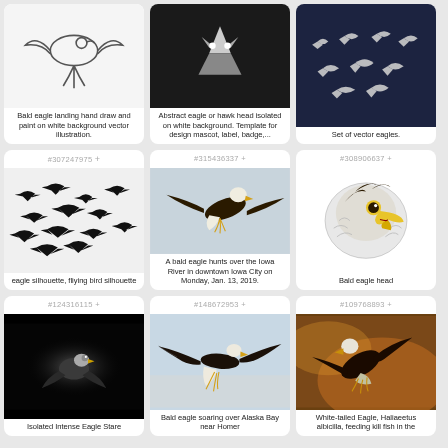[Figure (illustration): Bald eagle landing hand draw and paint on white background vector illustration.]
Bald eagle landing hand draw and paint on white background vector illustration.
[Figure (illustration): Abstract eagle or hawk head isolated on white background. Template for design mascot, label, badge,...]
Abstract eagle or hawk head isolated on white background. Template for design mascot, label, badge,...
[Figure (illustration): Set of vector eagles.]
Set of vector eagles.
[Figure (illustration): eagle silhouette, fliying bird silhouette. #307247975]
eagle silhouette, fliying bird silhouette
[Figure (photo): A bald eagle hunts over the Iowa River in downtown Iowa City on Monday, Jan. 13, 2019. #315436337]
A bald eagle hunts over the Iowa River in downtown Iowa City on Monday, Jan. 13, 2019.
[Figure (illustration): Bald eagle head. #308906637]
Bald eagle head
[Figure (photo): Isolated Intense Eagle Stare. #124316115]
Isolated Intense Eagle Stare
[Figure (photo): Bald eagle soaring over Alaska Bay near Homer. #148672953]
Bald eagle soaring over Alaska Bay near Homer
[Figure (photo): White-tailed Eagle, Haliaeetus albicilla, feeding kill fish in the. #109768893]
White-tailed Eagle, Haliaeetus albicilla, feeding kill fish in the